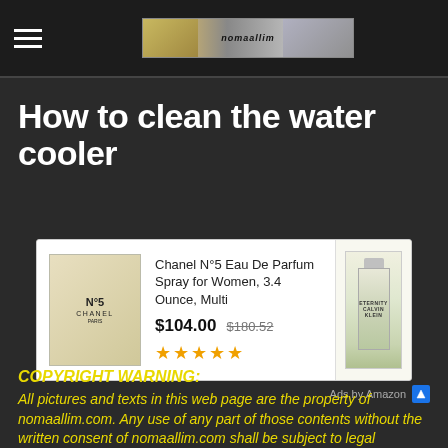How to clean the water cooler - nomaallim.com
How to clean the water cooler
[Figure (other): Advertisement: Chanel N°5 Eau De Parfum Spray for Women, 3.4 Ounce, Multi - $104.00 (was $180.52), 5 star rating. Secondary product image of Eternity perfume bottle. Ads by Amazon.]
COPYRIGHT WARNING:
All pictures and texts in this web page are the property of nomaallim.com. Any use of any part of those contents without the written consent of nomaallim.com shall be subject to legal procedures as per international and local